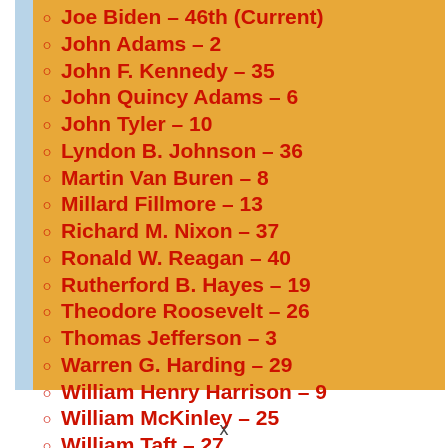Joe Biden – 46th (Current)
John Adams – 2
John F. Kennedy – 35
John Quincy Adams – 6
John Tyler – 10
Lyndon B. Johnson – 36
Martin Van Buren – 8
Millard Fillmore – 13
Richard M. Nixon – 37
Ronald W. Reagan – 40
Rutherford B. Hayes – 19
Theodore Roosevelt – 26
Thomas Jefferson – 3
Warren G. Harding – 29
William Henry Harrison – 9
William McKinley – 25
William Taft – 27
Woodrow Wilson – 28
x